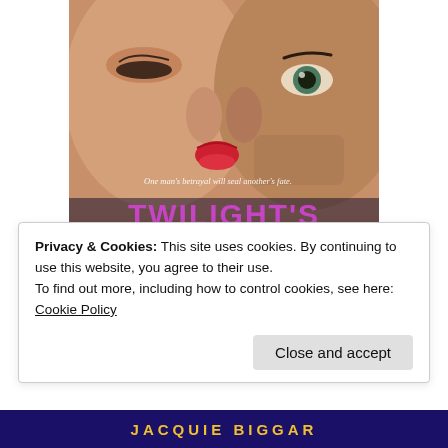[Figure (illustration): Book cover for 'Twilight's' by Jacquie Biggar showing close-up of a woman and man's faces nearly kissing, with bold purple title text partially visible at bottom and tagline 'One man's betrayal will seal another's fate.']
Privacy & Cookies: This site uses cookies. By continuing to use this website, you agree to their use.
To find out more, including how to control cookies, see here: Cookie Policy
Close and accept
JACQUIE BIGGAR